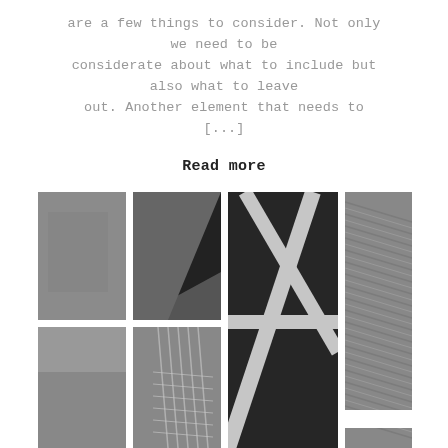are a few things to consider. Not only we need to be considerate about what to include but also what to leave out. Another element that needs to [...]
Read more
[Figure (photo): A collage of black and white architectural/abstract photographs arranged in a grid. Four columns: left two columns show smaller paired images (abstract architectural shapes and structures), center column shows a large merged image with bright white lines crossing dark surfaces, right column shows a large merged image of wavy diagonal striped texture.]